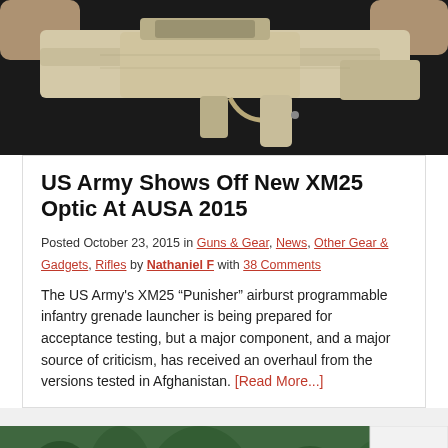[Figure (photo): Close-up photo of a tan/beige colored XM25 rifle held by hands against a dark background]
US Army Shows Off New XM25 Optic At AUSA 2015
Posted October 23, 2015 in Guns & Gear, News, Other Gear & Gadgets, Rifles by Nathaniel F with 38 Comments
The US Army's XM25 “Punisher” airburst programmable infantry grenade launcher is being prepared for acceptance testing, but a major component, and a major source of criticism, has received an overhaul from the versions tested in Afghanistan. [Read More...]
[Figure (photo): Cabela's advertisement banner showing highest-rated gear with forest background, star rating 4.9]